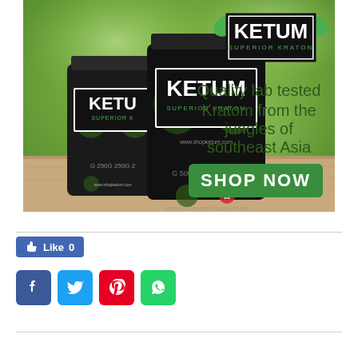[Figure (photo): Ketum Superior Kratom advertisement banner showing two black product bags (250g and 500g) on a wooden surface with a green bokeh background. Logo in top right corner. Text reads 'Quality lab tested Kratom from the jungles of southeast Asia' with a green 'SHOP NOW' button.]
[Figure (infographic): Facebook Like button showing 'Like 0', followed by four social sharing icons: Facebook (blue), Twitter (blue), Pinterest (red), WhatsApp (green)]